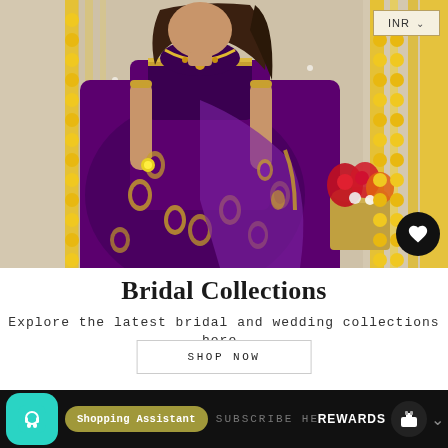[Figure (photo): Woman wearing a purple silk saree with gold embroidered motifs (paisleys/bootis), standing in front of yellow marigold garland decorations. She wears a gold necklace and holds a yellow flower. Traditional Indian wedding/festival setting.]
Bridal Collections
Explore the latest bridal and wedding collections here.
SHOP NOW
Shopping Assistant   SUBSCRIBE HE...   REWARDS